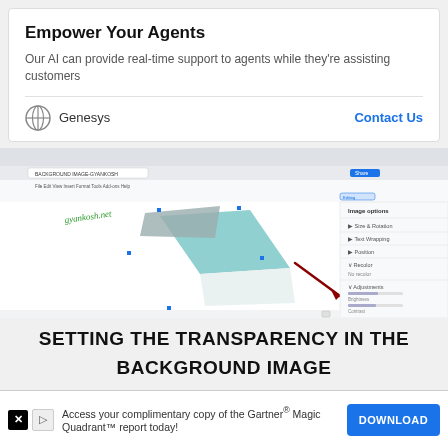Empower Your Agents
Our AI can provide real-time support to agents while they're assisting customers
Genesys   Contact Us
[Figure (screenshot): Screenshot of Google Docs showing a background image being edited with transparency/image options panel open on the right side. The document shows the gyankosh.net watermark and geometric shapes in teal and gray.]
SETTING THE TRANSPARENCY IN THE
BACKGROUND IMAGE
Access your complimentary copy of the Gartner® Magic Quadrant™ report today!   DOWNLOAD